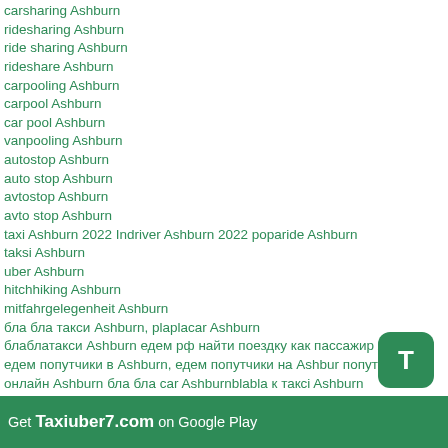carsharing Ashburn
ridesharing Ashburn
ride sharing Ashburn
rideshare Ashburn
carpooling Ashburn
carpool Ashburn
car pool Ashburn
vanpooling Ashburn
autostop Ashburn
auto stop Ashburn
avtostop Ashburn
avto stop Ashburn
taxi Ashburn 2022 Indriver Ashburn 2022 poparide Ashburn
taksi Ashburn
uber Ashburn
hitchhiking Ashburn
mitfahrgelegenheit Ashburn
бла бла такси Ashburn, plaplacar Ashburn
блаблатакси Ashburn едем рф найти поездку как пассажир Ashburn, едем попутчики в Ashburn, едем попутчики на Ashburn попутчик онлайн Ashburn бла бла car Ashburnblabla к такci Ashburn
такси убер Ashburn, edem.rf Ashburn, едем.рф Ashburn
Попутчик Ashburn Попутчики на Ashburn blablacar from Ashburn to Blablabus Ashburn, Blablataxi Ashburn, Bla bla taxi
Get Taxiuber7.com on Google Play